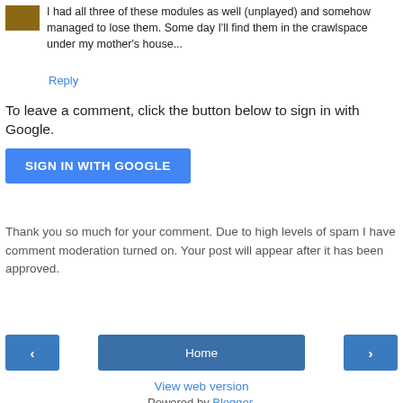I had all three of these modules as well (unplayed) and somehow managed to lose them. Some day I'll find them in the crawlspace under my mother's house...
Reply
To leave a comment, click the button below to sign in with Google.
SIGN IN WITH GOOGLE
Thank you so much for your comment. Due to high levels of spam I have comment moderation turned on. Your post will appear after it has been approved.
‹
Home
›
View web version
Powered by Blogger.